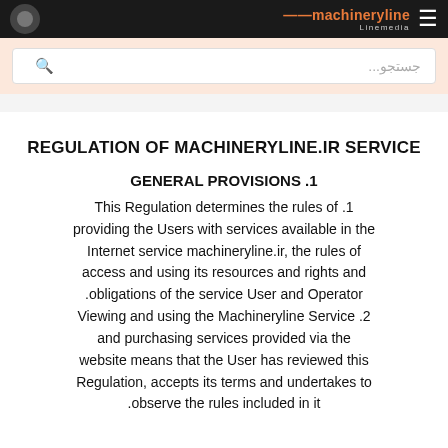machineryline | Linemedia
جستجو...
REGULATION OF MACHINERYLINE.IR SERVICE
1. GENERAL PROVISIONS
1. This Regulation determines the rules of providing the Users with services available in the Internet service machineryline.ir, the rules of access and using its resources and rights and obligations of the service User and Operator. 2. Viewing and using the Machineryline Service and purchasing services provided via the website means that the User has reviewed this Regulation, accepts its terms and undertakes to observe the rules included in it.